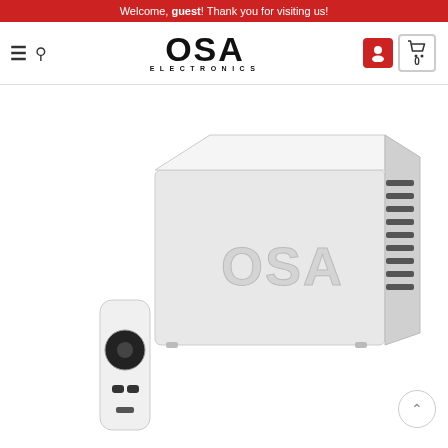Welcome, guest! Thank you for visiting us!
[Figure (logo): OSA Electronics logo — bold block lettering with ELECTRONICS subtitle]
[Figure (photo): Silver metallic electronics enclosure box with ventilation slots on the right side, showing OSA branding cutout on the front, alongside a white Apple TV remote control, on white background]